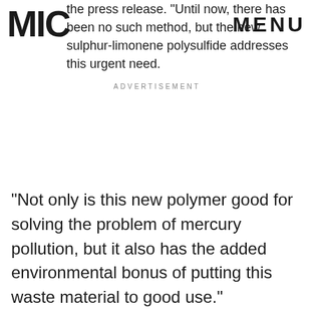MIC | MENU
the press release. "Until now, there has been no such method, but the new sulphur-limonene polysulfide addresses this urgent need.
ADVERTISEMENT
"Not only is this new polymer good for solving the problem of mercury pollution, but it also has the added environmental bonus of putting this waste material to good use."